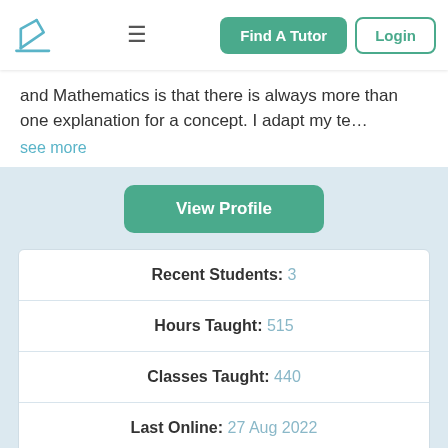≡  Find A Tutor  Login
and Mathematics is that there is always more than one explanation for a concept. I adapt my te…
see more
View Profile
| Stat | Value |
| --- | --- |
| Recent Students: | 3 |
| Hours Taught: | 515 |
| Classes Taught: | 440 |
| Last Online: | 27 Aug 2022 |
| All-time Students: | 12 |